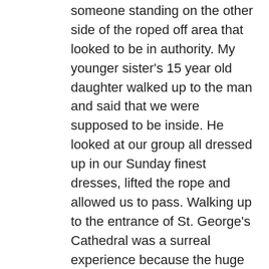someone standing on the other side of the roped off area that looked to be in authority. My younger sister's 15 year old daughter walked up to the man and said that we were supposed to be inside. He looked at our group all dressed up in our Sunday finest dresses, lifted the rope and allowed us to pass. Walking up to the entrance of St. George's Cathedral was a surreal experience because the huge crowd of people started to take photographs of us because they assumed we were somebody special. When we go inside we realized that EVERY SEAT in the Cathedral was reserved for different royalty and invited guests. In other words there was no place for us to sit down. So we sat at the rear of the church and I am pretty sure I ended up sitting on a centuries old sarcophagus. It was an amazing